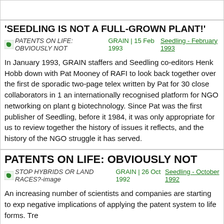'SEEDLING IS NOT A FULL-GROWN PLANT!'
GRAIN | 15 Feb 1993 Seedling - February 1993
In January 1993, GRAIN staffers and Seedling co-editors Henk Hobb down with Pat Mooney of RAFI to look back together over the first de sporadic two-page telex written by Pat for 30 close collaborators in 1 an internationally recognised platform for NGO networking on plant g biotechnology. Since Pat was the first publisher of Seedling, before it 1984, it was only appropriate for us to review together the history of issues it reflects, and the history of the NGO struggle it has served.
PATENTS ON LIFE: OBVIOUSLY NOT
GRAIN | 26 Oct 1992 Seedling - October 1992
An increasing number of scientists and companies are starting to exp negative implications of applying the patent system to life forms. Tre